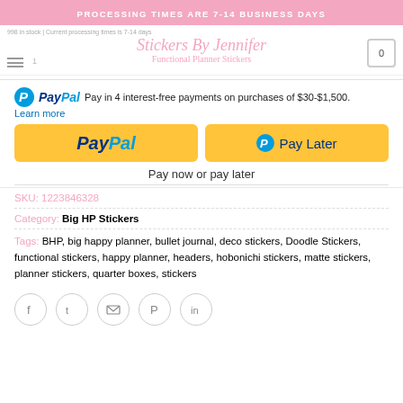PROCESSING TIMES ARE 7-14 BUSINESS DAYS
998 in stock | Current processing times is 7-14 days
Stickers By Jennifer
Functional Planner Stickers
PayPal Pay in 4 interest-free payments on purchases of $30-$1,500. Learn more
[Figure (screenshot): PayPal and Pay Later yellow payment buttons]
Pay now or pay later
SKU: 1223846328
Category: Big HP Stickers
Tags: BHP, big happy planner, bullet journal, deco stickers, Doodle Stickers, functional stickers, happy planner, headers, hobonichi stickers, matte stickers, planner stickers, quarter boxes, stickers
[Figure (infographic): Social sharing icons: Facebook, Twitter, Email, Pinterest, LinkedIn]